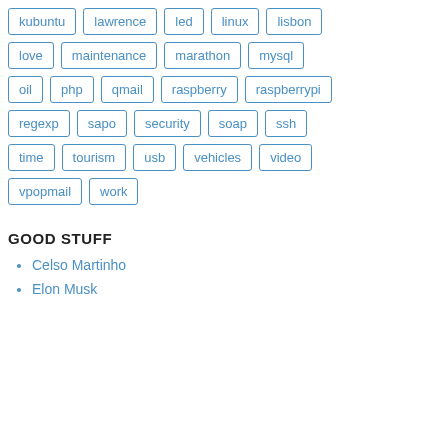kubuntu
lawrence
led
linux
lisbon
love
maintenance
marathon
mysql
oil
php
qmail
raspberry
raspberrypi
regexp
sapo
security
soap
ssh
time
tourism
usb
vehicles
video
vpopmail
work
GOOD STUFF
Celso Martinho
Elon Musk